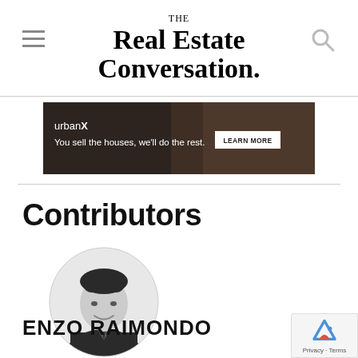THE Real Estate Conversation.
[Figure (screenshot): urbanX advertisement banner: 'urbanX You sell the houses, we'll do the rest. LEARN MORE' on dark background]
Contributors
[Figure (photo): Circular black and white headshot photo of Enzo Raimondo, a man in a suit and tie, smiling]
ENZO RAIMONDO